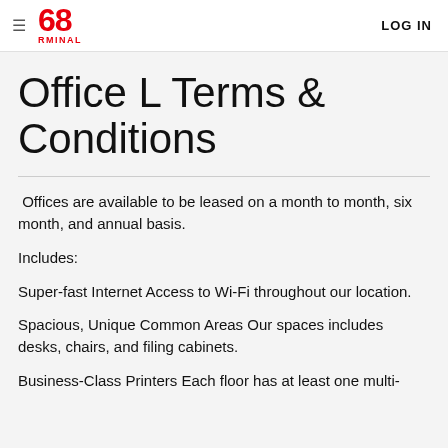68RMINAL  LOG IN
Office L Terms & Conditions
Offices are available to be leased on a month to month, six month, and annual basis.
Includes:
Super-fast Internet Access to Wi-Fi throughout our location.
Spacious, Unique Common Areas Our spaces includes desks, chairs, and filing cabinets.
Business-Class Printers Each floor has at least one multi-